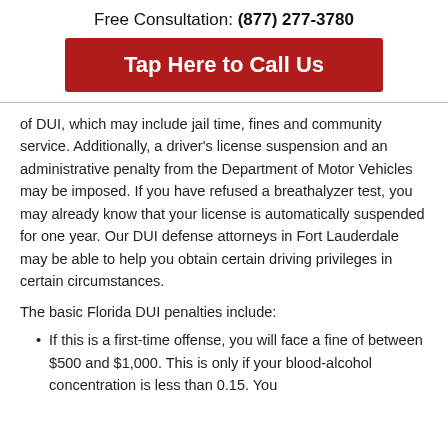Free Consultation: (877) 277-3780
Tap Here to Call Us
of DUI, which may include jail time, fines and community service. Additionally, a driver's license suspension and an administrative penalty from the Department of Motor Vehicles may be imposed. If you have refused a breathalyzer test, you may already know that your license is automatically suspended for one year. Our DUI defense attorneys in Fort Lauderdale may be able to help you obtain certain driving privileges in certain circumstances.
The basic Florida DUI penalties include:
If this is a first-time offense, you will face a fine of between $500 and $1,000. This is only if your blood-alcohol concentration is less than 0.15. You